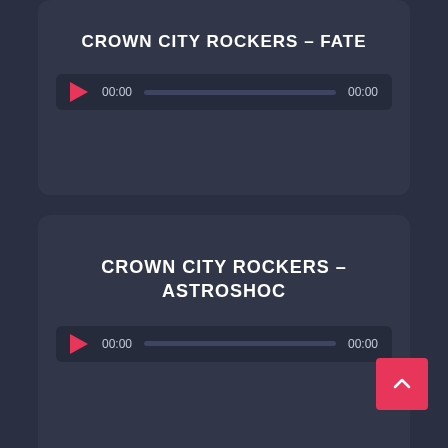CROWN CITY ROCKERS – FATE
[Figure (screenshot): Audio player widget showing play button, 00:00 start time, progress bar, and 00:00 end time for Crown City Rockers – Fate]
CROWN CITY ROCKERS – ASTROSHOC
[Figure (screenshot): Audio player widget showing play button, 00:00 start time, progress bar, and 00:00 end time for Crown City Rockers – Astroshoc]